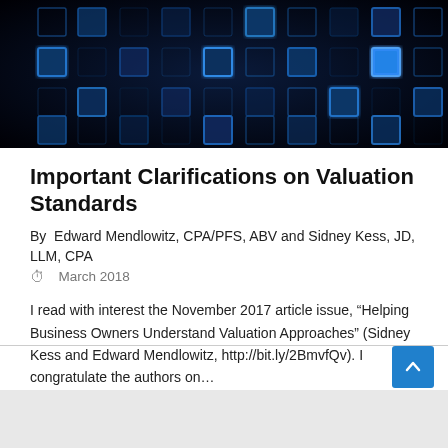[Figure (photo): Dark background with glowing blue digital square grid pattern tiles on a black surface]
Important Clarifications on Valuation Standards
By  Edward Mendlowitz, CPA/PFS, ABV and Sidney Kess, JD, LLM, CPA
March 2018
I read with interest the November 2017 article issue, “Helping Business Owners Understand Valuation Approaches” (Sidney Kess and Edward Mendlowitz, http://bit.ly/2BmvfQv). I congratulate the authors on…